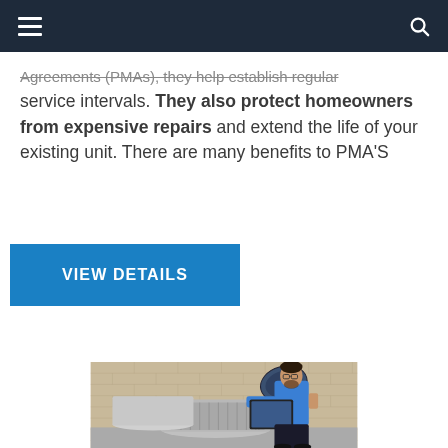Agreements (PMAs), they help establish regular service intervals. They also protect homeowners from expensive repairs and extend the life of your existing unit. There are many benefits to PMA'S
VIEW DETAILS
[Figure (photo): HVAC technician in blue polo shirt inspecting air conditioning units outdoors against a brick wall, using a tablet device. A satellite dish is visible in the background.]